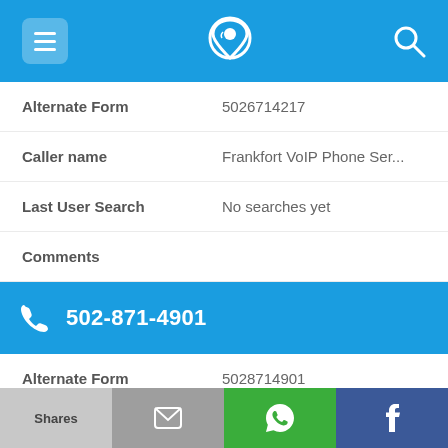App navigation bar with menu, phone finder logo, and search icons
Alternate Form: 5026714217
Caller name: Frankfort VoIP Phone Ser...
Last User Search: No searches yet
Comments
502-871-4901
Alternate Form: 5028714901
Caller name: 2 Listings found
Shares | [mail] | [whatsapp] | f